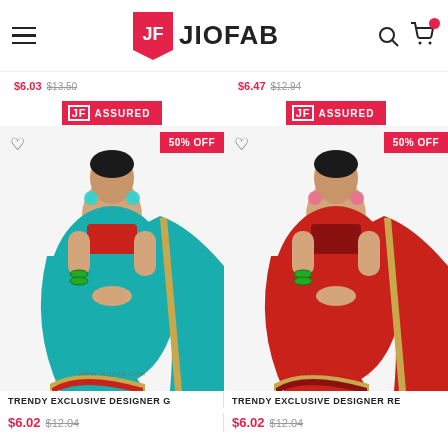JIOFAB — hamburger menu, logo, search and cart icons
$6.03 $13.50 (left product previous price row)
$6.47 $12.94 (right product previous price row)
[Figure (logo): JF ASSURED badge (pink background, left column)]
[Figure (logo): JF ASSURED badge (pink background, right column)]
[Figure (photo): Woman wearing teal/turquoise saree with red and gold border trim, cyan earrings, 50% OFF badge]
[Figure (photo): Woman wearing red saree with red and gold border trim, pink earrings, 50% OFF badge]
TRENDY EXCLUSIVE DESIGNER G
$6.02 $12.04
TRENDY EXCLUSIVE DESIGNER RE
$6.02 $12.04